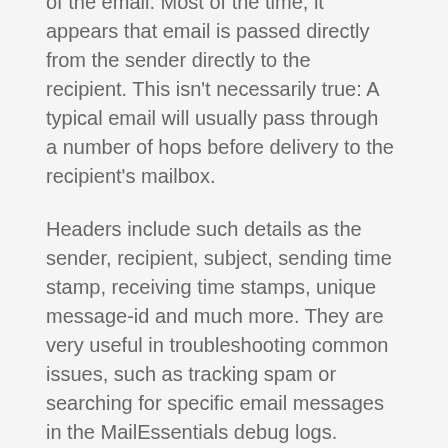of the email. Most of the time, it appears that email is passed directly from the sender directly to the recipient. This isn't necessarily true: A typical email will usually pass through a number of hops before delivery to the recipient's mailbox.
Headers include such details as the sender, recipient, subject, sending time stamp, receiving time stamps, unique message-id and much more. They are very useful in troubleshooting common issues, such as tracking spam or searching for specific email messages in the MailEssentials debug logs.